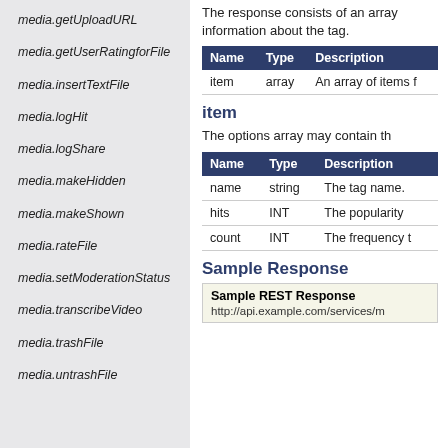media.getUploadURL
media.getUserRatingforFile
media.insertTextFile
media.logHit
media.logShare
media.makeHidden
media.makeShown
media.rateFile
media.setModerationStatus
media.transcribeVideo
media.trashFile
media.untrashFile
The response consists of an array information about the tag.
| Name | Type | Description |
| --- | --- | --- |
| item | array | An array of items f |
item
The options array may contain th
| Name | Type | Description |
| --- | --- | --- |
| name | string | The tag name. |
| hits | INT | The popularity |
| count | INT | The frequency t |
Sample Response
Sample REST Response
http://api.example.com/services/m